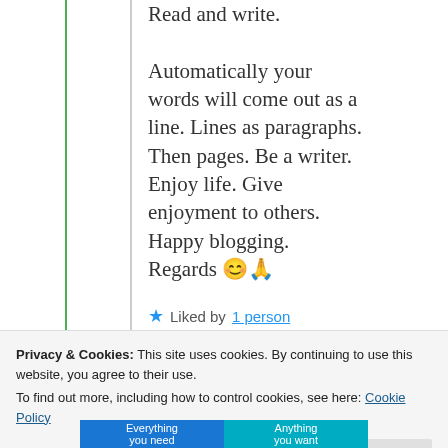Read and write. Automatically your words will come out as a line. Lines as paragraphs. Then pages. Be a writer. Enjoy life. Give enjoyment to others. Happy blogging. Regards 😊🙏
★ Liked by 1 person
Privacy & Cookies: This site uses cookies. By continuing to use this website, you agree to their use. To find out more, including how to control cookies, see here: Cookie Policy
Close and accept
[Figure (screenshot): Bottom portion of a website showing two banner sections with teal/blue gradient background with partial text 'Everything you need' and 'Anything you want']